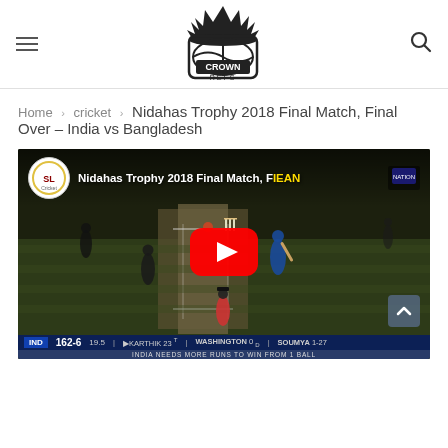Crown Refs - hamburger menu and search icon
Home › cricket › Nidahas Trophy 2018 Final Match, Final Over – India vs Bangladesh
Nidahas Trophy 2018 Final Match, Final Over – India vs Bangladesh
[Figure (screenshot): YouTube video thumbnail of Nidahas Trophy 2018 Final Match cricket game showing players on field with YouTube play button overlay. Scoreboard at bottom shows IND 162-6, 19.5 overs, KARTHIK 23, WASHINGTON 0, SOUMYA 1-27. Text: INDIA NEEDS MORE RUNS TO WIN FROM 1 BALL]